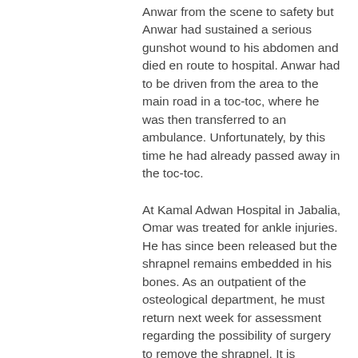Anwar from the scene to safety but Anwar had sustained a serious gunshot wound to his abdomen and died en route to hospital. Anwar had to be driven from the area to the main road in a toc-toc, where he was then transferred to an ambulance. Unfortunately, by this time he had already passed away in the toc-toc.
At Kamal Adwan Hospital in Jabalia, Omar was treated for ankle injuries. He has since been released but the shrapnel remains embedded in his bones. As an outpatient of the osteological department, he must return next week for assessment regarding the possibility of surgery to remove the shrapnel. It is understandable that Omar was terrified during the attack. He has been traumatised by the experience and has not been able to sleep due to reliving the memory of it.
[Figure (photo): A light grey rectangular image placeholder at the bottom of the page.]